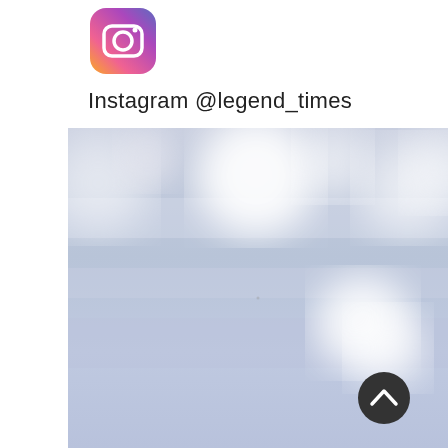[Figure (logo): Instagram logo icon - colorful gradient square with camera symbol]
Instagram @legend_times
[Figure (photo): Bokeh background photo with blurred soft light circles on a pale blue/lavender background]
[Figure (other): Dark circular back-to-top button with upward chevron arrow]